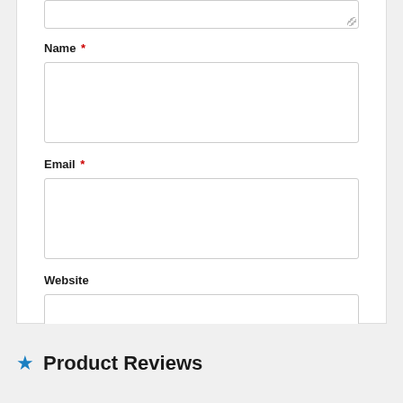Name *
Email *
Website
Post Comment
Product Reviews